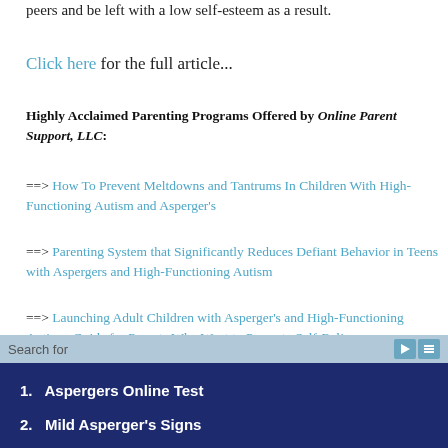peers and be left with a low self-esteem as a result.
Click here for the full article...
Highly Acclaimed Parenting Programs Offered by Online Parent Support, LLC:
==> How To Prevent Meltdowns and Tantrums In Children With High-Functioning Autism and Asperger's
==> Parenting System that Significantly Reduces Defiant Behavior in Teens with Aspergers and High-Functioning Autism
==> Launching Adult Children with Asperger's and High-Functioning Autism: Guide for Parents Who Want to Promote Self-Reliance
==> Teaching Social Skills and Emotion Management to Children and Teens with Asperger's and High-Functioning Autism
Search for
1. Aspergers Online Test
2. Mild Asperger's Signs